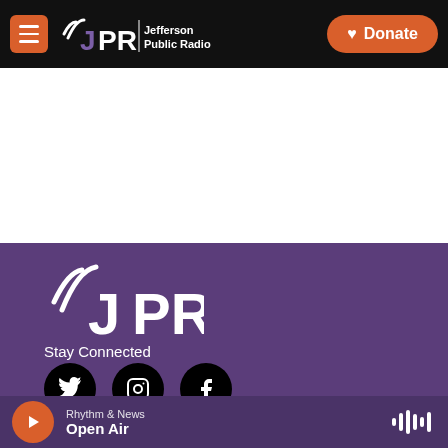JPR Jefferson Public Radio | Donate
[Figure (logo): JPR Jefferson Public Radio large logo in purple footer]
Stay Connected
[Figure (infographic): Social media icons: Twitter, Instagram, Facebook (black circles)]
© 2022 | Jefferson Public Radio
Rhythm & News
Open Air